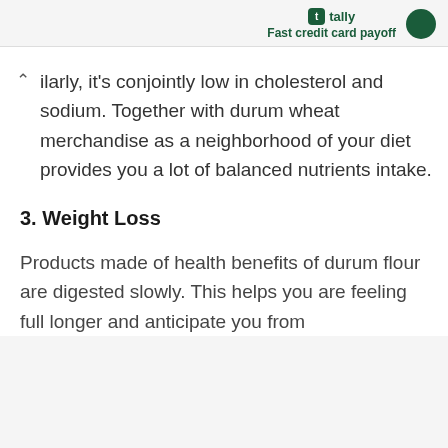tally Fast credit card payoff
ilarly, it's conjointly low in cholesterol and sodium. Together with durum wheat merchandise as a neighborhood of your diet provides you a lot of balanced nutrients intake.
3. Weight Loss
Products made of health benefits of durum flour are digested slowly. This helps you are feeling full longer and anticipate you from